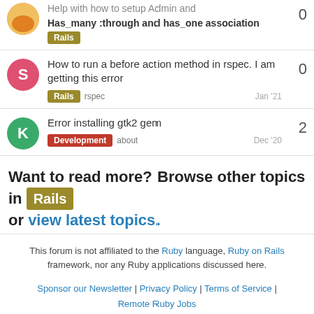Help with how to setup Admin and Has_many :through and has_one association — Rails — 0
How to run a before action method in rspec. I am getting this error — Rails rspec — Jan '21 — 0
Error installing gtk2 gem — Development about — Dec '20 — 2
Want to read more? Browse other topics in Rails or view latest topics.
This forum is not affiliated to the Ruby language, Ruby on Rails framework, nor any Ruby applications discussed here.
Sponsor our Newsletter | Privacy Policy | Terms of Service | Remote Ruby Jobs